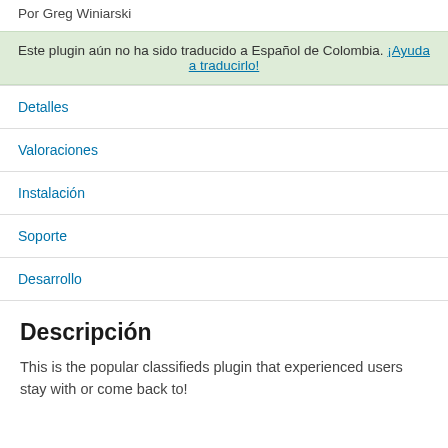Por Greg Winiarski
Este plugin aún no ha sido traducido a Español de Colombia. ¡Ayuda a traducirlo!
Detalles
Valoraciones
Instalación
Soporte
Desarrollo
Descripción
This is the popular classifieds plugin that experienced users stay with or come back to!